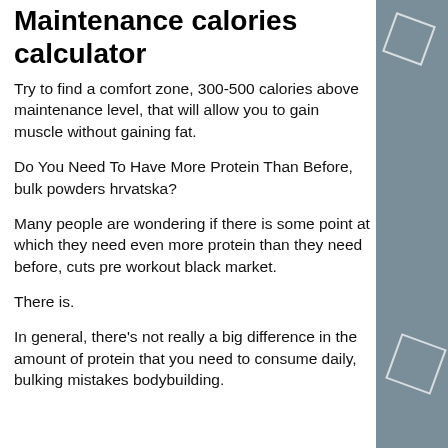Maintenance calories calculator
Try to find a comfort zone, 300-500 calories above maintenance level, that will allow you to gain muscle without gaining fat.
Do You Need To Have More Protein Than Before, bulk powders hrvatska?
Many people are wondering if there is some point at which they need even more protein than they need before, cuts pre workout black market.
There is.
In general, there's not really a big difference in the amount of protein that you need to consume daily, bulking mistakes bodybuilding.